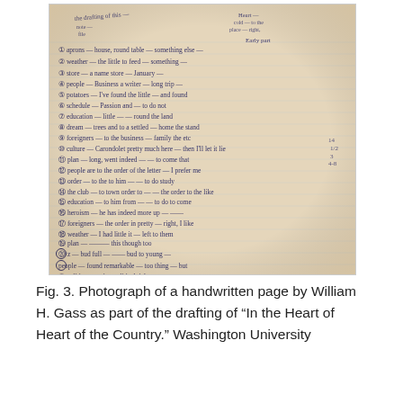[Figure (photo): Photograph of a handwritten page by William H. Gass, showing numbered list items written in cursive ink on lined paper, with annotations in the margins and top corners.]
Fig. 3. Photograph of a handwritten page by William H. Gass as part of the drafting of “In the Heart of Heart of the Country.” Washington University Archives. Photo by the Author.